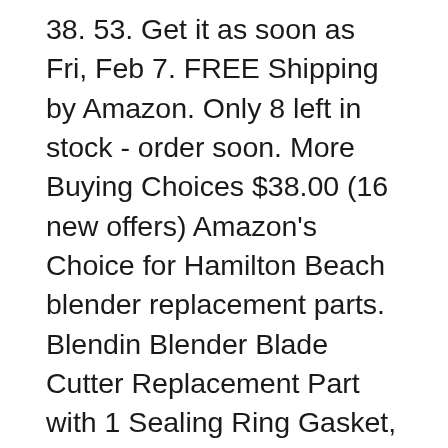38. 53. Get it as soon as Fri, Feb 7. FREE Shipping by Amazon. Only 8 left in stock - order soon. More Buying Choices $38.00 (16 new offers) Amazon's Choice for Hamilton Beach blender replacement parts. Blendin Blender Blade Cutter Replacement Part with 1 Sealing Ring Gasket, Compatible Need to fix your 33862 Deluxe Set And Forget 6 Quart Slow Cooker? Use our part lists, interactive diagrams, accessories and expert repair advice to make your repairs easy.
Lid is glass with a black handle and gasket included. Measures 12" x 9 3/4" (approx 12 inches by 10 inches). Fits Hamilton Beach & Storedge models...